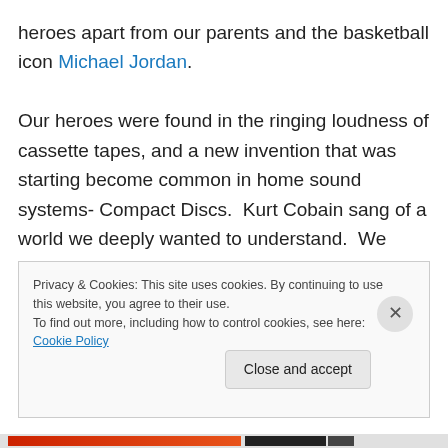heroes apart from our parents and the basketball icon Michael Jordan. Our heroes were found in the ringing loudness of cassette tapes, and a new invention that was starting become common in home sound systems- Compact Discs.  Kurt Cobain sang of a world we deeply wanted to understand.  We began to be fascinated with the idea of being intoxicated, because we knew all of these guys constantly were.  And since I played music I somehow believed that intoxication would enhance my music, and in many ways
Privacy & Cookies: This site uses cookies. By continuing to use this website, you agree to their use.
To find out more, including how to control cookies, see here: Cookie Policy